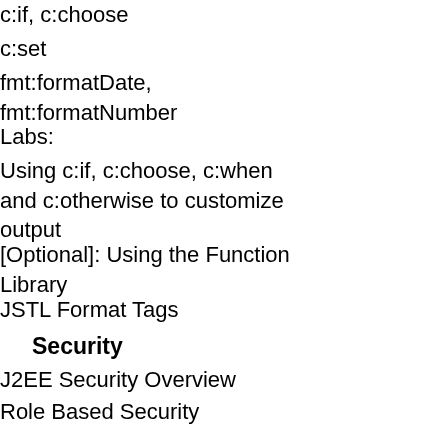c:if, c:choose
c:set
fmt:formatDate, fmt:formatNumber
Labs:
Using c:if, c:choose, c:when and c:otherwise to customize output
[Optional]: Using the Function Library
JSTL Format Tags
Security
J2EE Security Overview
Role Based Security
Declarative Security
Web Authentication - Basic, Form-Based, Digest, HTTPS Client
Using Basic Authentication
Using Form-Based Authentication